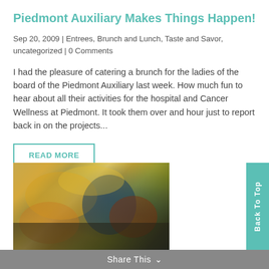Piedmont Auxiliary Makes Things Happen!
Sep 20, 2009 | Entrees, Brunch and Lunch, Taste and Savor, uncategorized | 0 Comments
I had the pleasure of catering a brunch for the ladies of the board of the Piedmont Auxiliary last week. How much fun to hear about all their activities for the hospital and Cancer Wellness at Piedmont. It took them over and hour just to report back in on the projects...
READ MORE
[Figure (photo): Close-up photo of food items including what appears to be chips, citrus slices, and a dark sauce or dip in a small bowl]
Share This